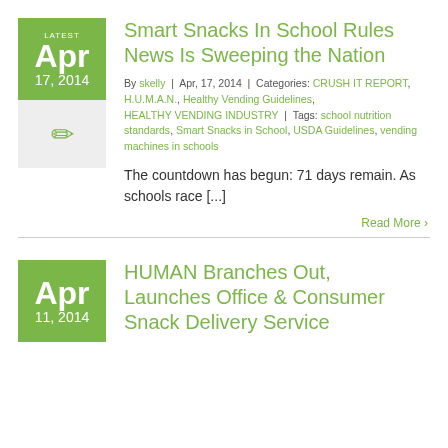Smart Snacks In School Rules News Is Sweeping the Nation
By skelly | Apr, 17, 2014 | Categories: CRUSH IT REPORT, H.U.M.A.N., Healthy Vending Guidelines, HEALTHY VENDING INDUSTRY | Tags: school nutrition standards, Smart Snacks in School, USDA Guidelines, vending machines in schools
The countdown has begun: 71 days remain. As schools race [...]
Read More >
HUMAN Branches Out, Launches Office & Consumer Snack Delivery Service